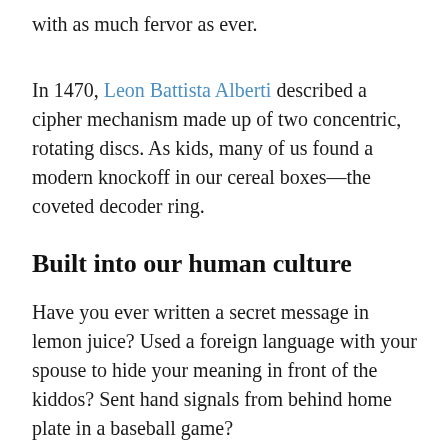with as much fervor as ever.
In 1470, Leon Battista Alberti described a cipher mechanism made up of two concentric, rotating discs. As kids, many of us found a modern knockoff in our cereal boxes—the coveted decoder ring.
Built into our human culture
Have you ever written a secret message in lemon juice? Used a foreign language with your spouse to hide your meaning in front of the kiddos? Sent hand signals from behind home plate in a baseball game?